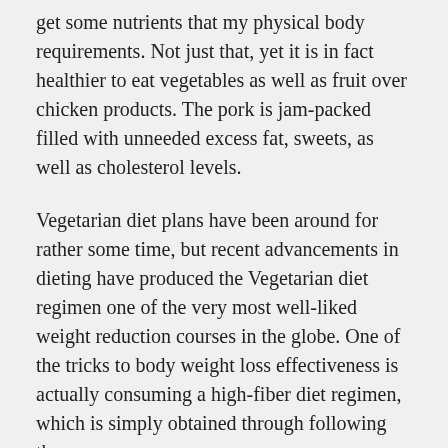get some nutrients that my physical body requirements. Not just that, yet it is in fact healthier to eat vegetables as well as fruit over chicken products. The pork is jam-packed filled with unneeded excess fat, sweets, as well as cholesterol levels.
Vegetarian diet plans have been around for rather some time, but recent advancements in dieting have produced the Vegetarian diet regimen one of the very most well-liked weight reduction courses in the globe. One of the tricks to body weight loss effectiveness is actually consuming a high-fiber diet regimen, which is simply obtained through following the recommended f...